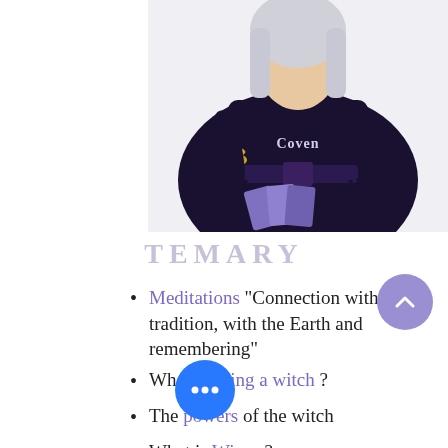[Figure (illustration): Anime-style illustration of a witch character in dark outfit with the word 'Coven' on their chest, holding tarot cards, with bracelets and fringed clothing. Only the upper body is visible.]
TEMARY
Meditations "Connection with tradition, with the Earth and remembering"
What is being a witch ?
The powers of the witch
What is Wicca ?
Realms and dimensions
Foundations of the ancient art of witchcraft.
Belief system